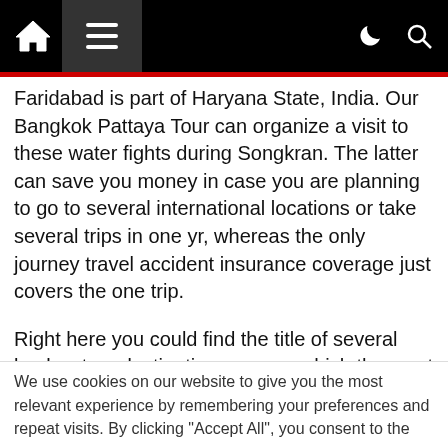Home menu dark-mode search
Faridabad is part of Haryana State, India. Our Bangkok Pattaya Tour can organize a visit to these water fights during Songkran. The latter can save you money in case you are planning to go to several international locations or take several trips in one yr, whereas the only journey travel accident insurance coverage just covers the one trip.
Right here you could find the title of several backwaters destinations among which the most popular and visited by vacationers are Kovalam, Kumarakom and Alleppey. That is the primary town alongside the Causeway coast which is a well-liked vacationer attraction. Many boats are outfitted with glass-flooring which permit visitors to experience
We use cookies on our website to give you the most relevant experience by remembering your preferences and repeat visits. By clicking "Accept All", you consent to the